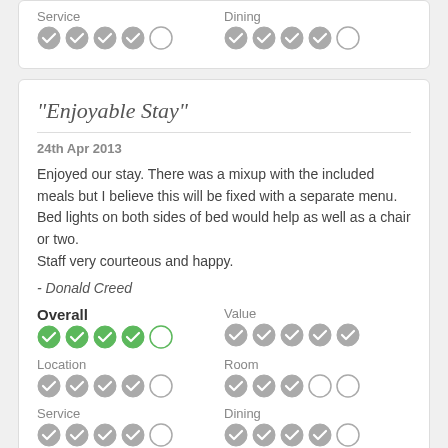Service
[Figure (other): 5-circle rating for Service: 4 filled grey checkmark circles, 1 empty circle]
Dining
[Figure (other): 5-circle rating for Dining: 4 filled grey checkmark circles, 1 empty circle]
“Enjoyable Stay”
24th Apr 2013
Enjoyed our stay. There was a mixup with the included meals but I believe this will be fixed with a separate menu.
Bed lights on both sides of bed would help as well as a chair or two.
Staff very courteous and happy.
- Donald Creed
Overall
[Figure (other): 5-circle rating for Overall: 4 filled green checkmark circles, 1 empty circle]
Value
[Figure (other): 5-circle rating for Value: 5 filled grey checkmark circles]
Location
[Figure (other): 5-circle rating for Location: 4 filled grey checkmark circles, 1 empty circle]
Room
[Figure (other): 5-circle rating for Room: 3 filled grey checkmark circles, 2 empty circles]
Service
[Figure (other): 5-circle rating for Service: 4 filled grey checkmark circles, 1 empty circle]
Dining
[Figure (other): 5-circle rating for Dining: 4 filled grey checkmark circles, 1 empty circle]